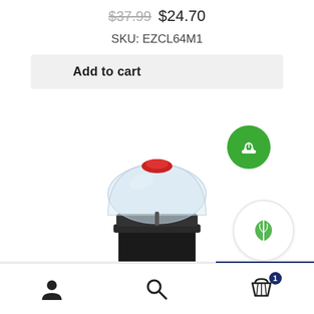$37.99  $24.70
SKU: EZCL64M1
Add to cart
[Figure (photo): A black square planter/container with a transparent dome lid featuring a red vent cap on top, with two green eco/plant icon badges overlaid on the right side.]
[Figure (infographic): Bottom navigation bar with user account icon, search icon, and shopping cart icon with badge showing 1 item.]